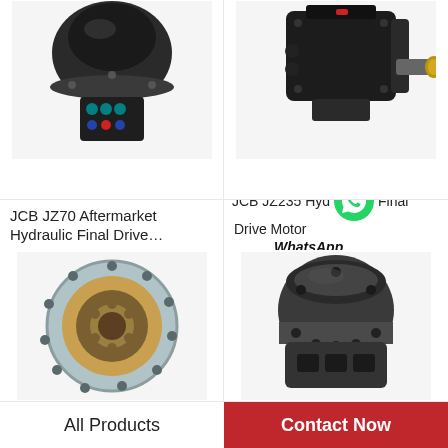[Figure (photo): JCB JZ70 Aftermarket Hydraulic Final Drive Motor - black hydraulic motor with colored fittings]
[Figure (photo): JCB JZ235 Hydraulic Final Drive Motor - black motor with gold fitting and red accent]
JCB JZ70 Aftermarket Hydraulic Final Drive…
JCB JZ235 Hydraulic Final Drive Motor  WhatsApp Online
[Figure (photo): Hydraulic final drive sprocket/gear face - circular gear with gold interior]
[Figure (photo): Hydraulic final drive motor - dark grey cylindrical motor with bolt holes]
All Products
Contact Now